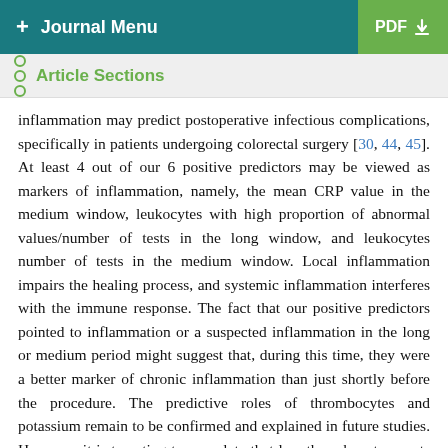+ Journal Menu   PDF ↓
Article Sections
inflammation may predict postoperative infectious complications, specifically in patients undergoing colorectal surgery [30, 44, 45]. At least 4 out of our 6 positive predictors may be viewed as markers of inflammation, namely, the mean CRP value in the medium window, leukocytes with high proportion of abnormal values/number of tests in the long window, and leukocytes number of tests in the medium window. Local inflammation impairs the healing process, and systemic inflammation interferes with the immune response. The fact that our positive predictors pointed to inflammation or a suspected inflammation in the long or medium period might suggest that, during this time, they were a better marker of chronic inflammation than just shortly before the procedure. The predictive roles of thrombocytes and potassium remain to be confirmed and explained in future studies. However, it is tempting to speculate that low thrombocyte counts may directly impede the healing process, whereas high numbers may indicate or even modulate inflammation [46] and that the number of potassium